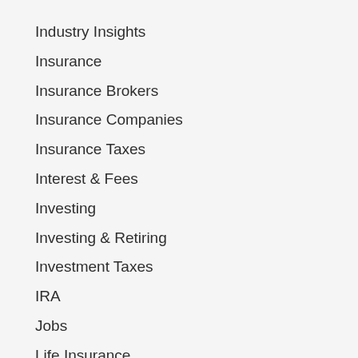Industry Insights
Insurance
Insurance Brokers
Insurance Companies
Insurance Taxes
Interest & Fees
Investing
Investing & Retiring
Investment Taxes
IRA
Jobs
Life Insurance